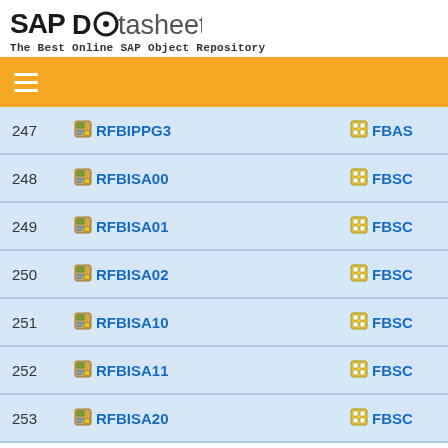SAP Datasheet - The Best Online SAP Object Repository
| # | Program | Category |
| --- | --- | --- |
| 247 | RFBIPPG3 | FBAS |
| 248 | RFBISA00 | FBSC |
| 249 | RFBISA01 | FBSC |
| 250 | RFBISA02 | FBSC |
| 251 | RFBISA10 | FBSC |
| 252 | RFBISA11 | FBSC |
| 253 | RFBISA20 | FBSC |